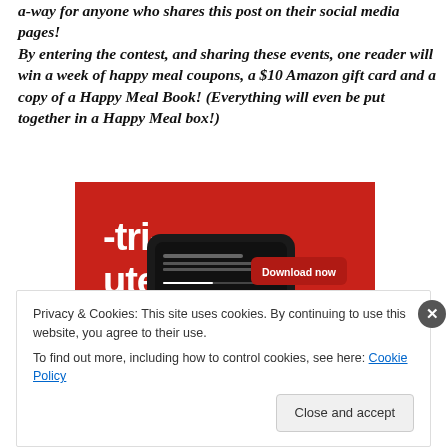a-way for anyone who shares this post on their social media pages! By entering the contest, and sharing these events, one reader will win a week of happy meal coupons, a $10 Amazon gift card and a copy of a Happy Meal Book! (Everything will even be put together in a Happy Meal box!)
[Figure (screenshot): A smartphone with a red case lying on a red background showing an audio app interface with a 'Download now' button. The text '-tri-uted' appears in white on the red background.]
Privacy & Cookies: This site uses cookies. By continuing to use this website, you agree to their use.
To find out more, including how to control cookies, see here: Cookie Policy
Close and accept